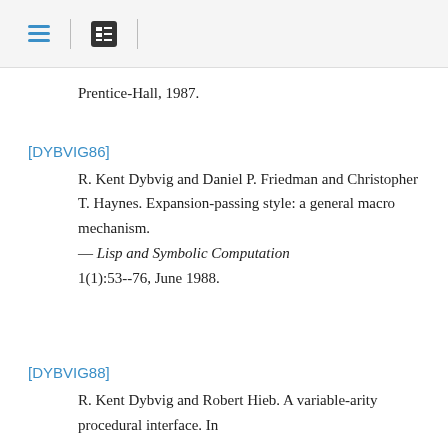[hamburger menu icon] | [list icon] |
Prentice-Hall, 1987.
[DYBVIG86]
R. Kent Dybvig and Daniel P. Friedman and Christopher T. Haynes. Expansion-passing style: a general macro mechanism.
— Lisp and Symbolic Computation
1(1):53--76, June 1988.
[DYBVIG88]
R. Kent Dybvig and Robert Hieb. A variable-arity procedural interface. In